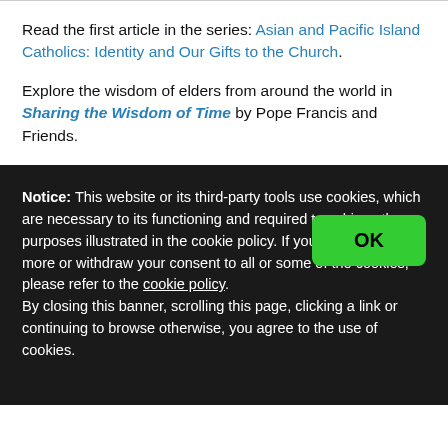Read the first article in the series: Asian and Pacific Island Catholics: Identity and Our Gifts to the Church.
Explore the wisdom of elders from around the world in Sharing the Wisdom of Time by Pope Francis and Friends.
Notice: This website or its third-party tools use cookies, which are necessary to its functioning and required to achieve the purposes illustrated in the cookie policy. If you want to know more or withdraw your consent to all or some of the cookies, please refer to the cookie policy. By closing this banner, scrolling this page, clicking a link or continuing to browse otherwise, you agree to the use of cookies.